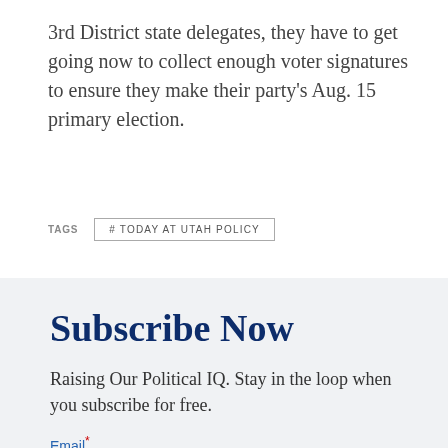3rd District state delegates, they have to get going now to collect enough voter signatures to ensure they make their party's Aug. 15 primary election.
TAGS  #TODAY AT UTAH POLICY
Subscribe Now
Raising Our Political IQ. Stay in the loop when you subscribe for free.
Email*